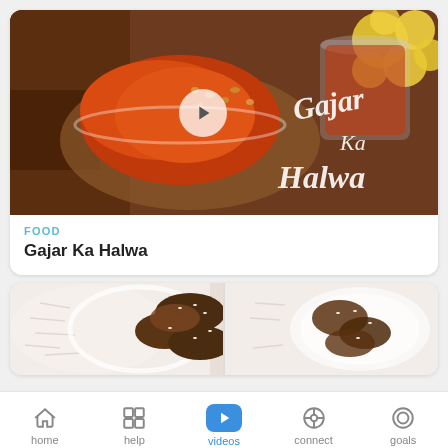[Figure (screenshot): Video thumbnail showing Gajar Ka Halwa – a red/orange Indian carrot dessert in glass bowls on a wooden board with yellow flowers, with a play button overlay and cursive text 'Gajar Ka Halwa']
FOOD
Gajar Ka Halwa
[Figure (photo): Photo of teriyaki-glazed eggplant with sesame seeds served on white rice in white bowls]
home  help  videos  connect  goals